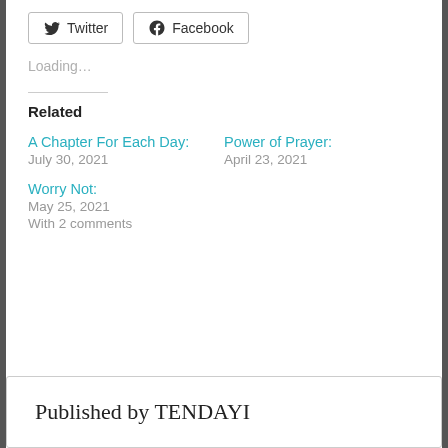[Figure (other): Twitter and Facebook share buttons]
Loading...
Related
A Chapter For Each Day:
July 30, 2021
Power of Prayer:
April 23, 2021
Worry Not:
May 25, 2021
With 2 comments
Published by TENDAYI